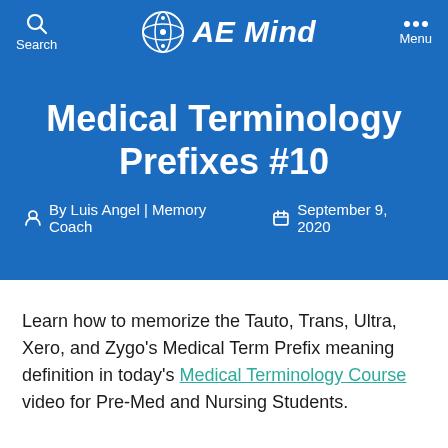AE Mind
Medical Terminology Prefixes #10
By Luis Angel | Memory Coach   September 9, 2020
Learn how to memorize the Tauto, Trans, Ultra, Xero, and Zygo's Medical Term Prefix meaning definition in today's Medical Terminology Course video for Pre-Med and Nursing Students.